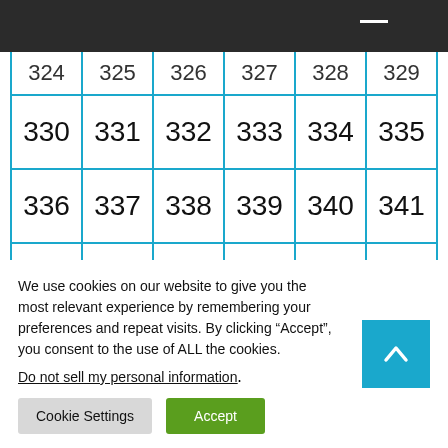| 324 | 325 | 326 | 327 | 328 | 329 |
| 330 | 331 | 332 | 333 | 334 | 335 |
| 336 | 337 | 338 | 339 | 340 | 341 |
| 342 | 343 | 344 | 345 | 346 | 347 |
| 348 | 349 | 350 | 351 | 352 | 353 |
| 354 | 355 | 356 | 357 | 358 | 359 |
We use cookies on our website to give you the most relevant experience by remembering your preferences and repeat visits. By clicking “Accept”, you consent to the use of ALL the cookies.
Do not sell my personal information.
Cookie Settings  Accept